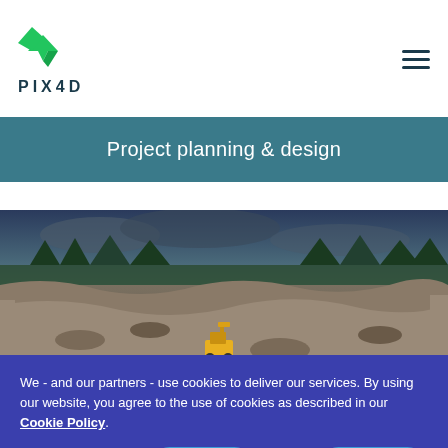[Figure (logo): Pix4D logo with green arrow/check icon and dark navy text 'PIX4D' below]
Project planning & design
[Figure (photo): Aerial panoramic photo of an open-pit quarry or mining site with rocky terrain, excavator (yellow), pine trees in background, and dramatic cloudy sky]
We - and our partners - use cookies to deliver our services. By using our website, you agree to the use of cookies as described in our Cookie Policy.
Settings
Reject All
Accept All